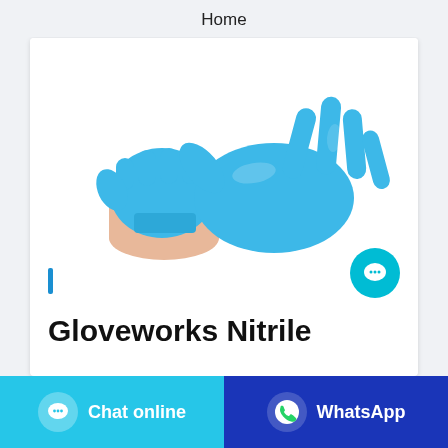Home
[Figure (photo): Two hands wearing blue nitrile disposable gloves, one hand pulling the glove onto the other hand, white background]
Gloveworks Nitrile
Chat online
WhatsApp